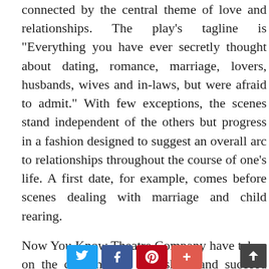connected by the central theme of love and relationships. The play's tagline is "Everything you have ever secretly thought about dating, romance, marriage, lovers, husbands, wives and in-laws, but were afraid to admit." With few exceptions, the scenes stand independent of the others but progress in a fashion designed to suggest an overall arc to relationships throughout the course of one's life. A first date, for example, comes before scenes dealing with marriage and child rearing.

Now You Know Theatre Company have taken on the challenge of this show and succeed with style in delivering an entertaining 70 minutes of musical theatre. Director Anthony Orme, who also performs in the piece, has directed his company well altho